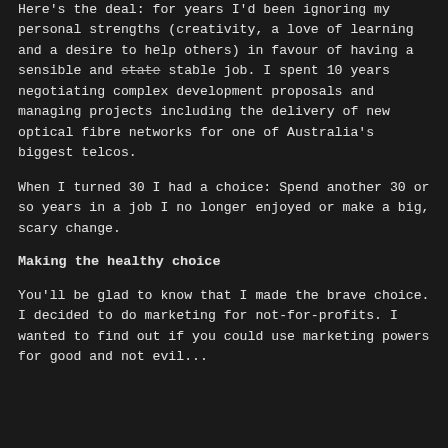Here's the deal: for years I'd been ignoring my personal strengths (creativity, a love of learning and a desire to help others) in favour of having a sensible and stable stable job. I spent 10 years negotiating complex development proposals and managing projects including the delivery of new optical fibre networks for one of Australia's biggest telcos.
When I turned 30 I had a choice: Spend another 30 or so years in a job I no longer enjoyed or make a big, scary change.
Making the healthy choice
You'll be glad to know that I made the brave choice. I decided to do marketing for not-for-profits. I wanted to find out if you could use marketing powers for good and not evil...